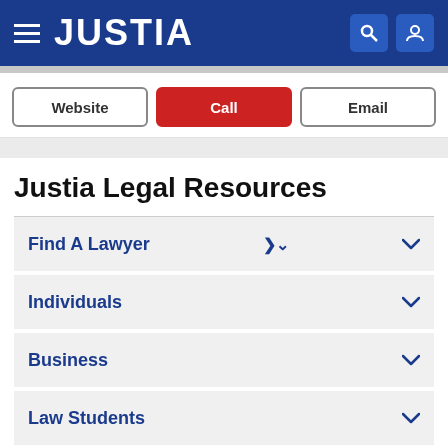JUSTIA
Website | Call | Email
Justia Legal Resources
Find A Lawyer
Individuals
Business
Law Students
US Federal Law
US State Law